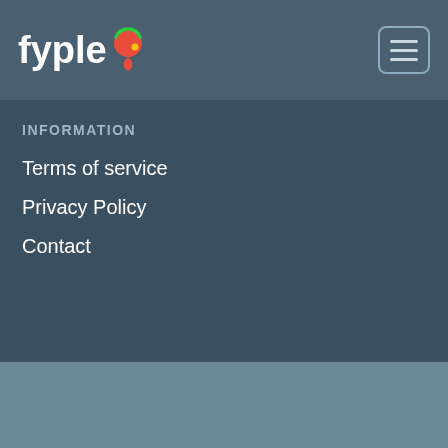fyple [logo with map pin icon] [hamburger menu button]
INFORMATION
Terms of service
Privacy Policy
Contact
🌍 FYPLE WORLDWIDE:
🇦🇺 Australia  🇨🇦 Canada  🇮🇪 Ireland  🇳🇿 New Zealand  🇿🇦 South Africa  🇬🇧 United Kingdom  🇺🇸 United States
© 2022 - Fyple Canada